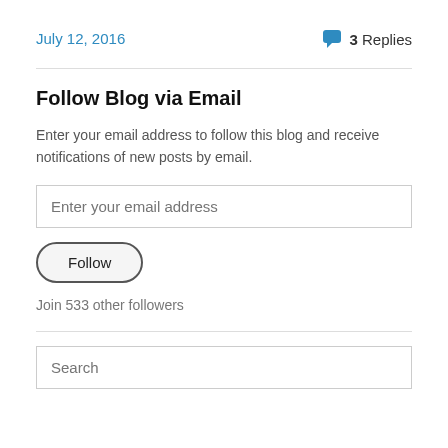July 12, 2016
3 Replies
Follow Blog via Email
Enter your email address to follow this blog and receive notifications of new posts by email.
Enter your email address
Follow
Join 533 other followers
Search